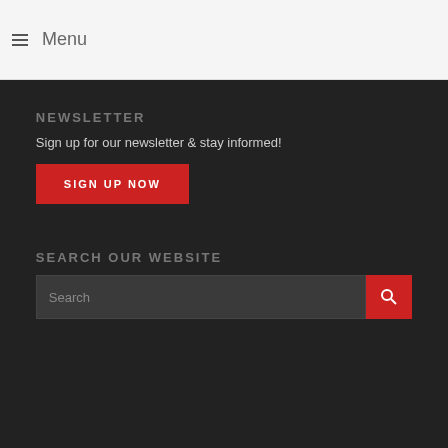≡ Menu
NEWSLETTER
Sign up for our newsletter & stay informed!
SIGN UP NOW
SEARCH OUR WEBSITE
Search